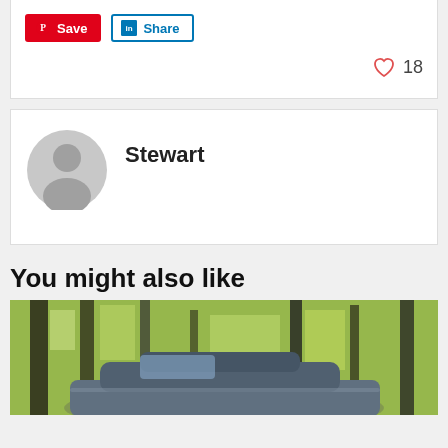[Figure (screenshot): Social sharing buttons: Pinterest Save (red) and LinkedIn Share (blue outline)]
[Figure (other): Heart/like icon with count 18]
[Figure (other): Author avatar placeholder (grey silhouette circle)]
Stewart
You might also like
[Figure (photo): Car parked in a forest with green trees in the background]